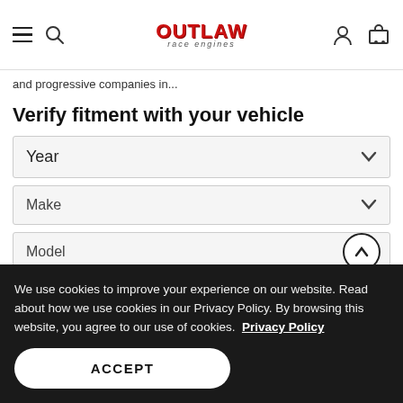Outlaw Race Engines - navigation header with hamburger menu, search, logo, account, and cart icons
and progressive companies in...
Verify fitment with your vehicle
Year (dropdown)
Make (dropdown)
Model (dropdown with up chevron)
GO | (reset icon)
We use cookies to improve your experience on our website. Read about how we use cookies in our Privacy Policy. By browsing this website, you agree to our use of cookies. Privacy Policy
ACCEPT